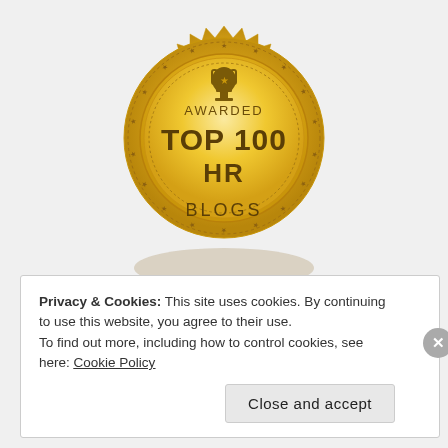[Figure (illustration): Gold award badge/seal with star burst edge, trophy icon at top, text reading AWARDED TOP 100 HR BLOGS, with elliptical shadow beneath]
Privacy & Cookies: This site uses cookies. By continuing to use this website, you agree to their use.
To find out more, including how to control cookies, see here: Cookie Policy
Close and accept